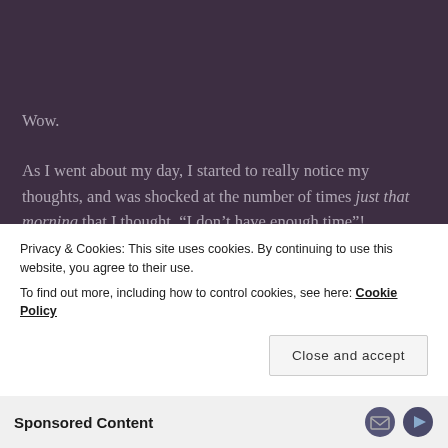Wow.
As I went about my day, I started to really notice my thoughts, and was shocked at the number of times just that morning that I thought, “I don’t have enough time”!
Louise Hay, in many of her books, writes about the idea that, basically, “What you think is what you get.” I’ve believed this but for the first time I considered it in a
Privacy & Cookies: This site uses cookies. By continuing to use this website, you agree to their use.
To find out more, including how to control cookies, see here: Cookie Policy
Close and accept
Sponsored Content